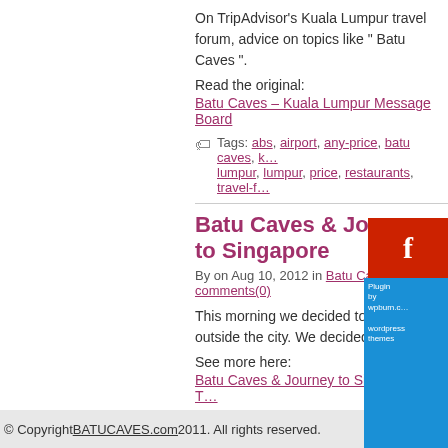On TripAdvisor's Kuala Lumpur travel forum, advice on topics like " Batu Caves ".
Read the original:
Batu Caves – Kuala Lumpur Message Board
Tags: abs, airport, any-price, batu caves, kuala-lumpur, lumpur, price, restaurants, travel-f…
Batu Caves & Journey to Singapore
By on Aug 10, 2012 in Batu Caves | comments(0)
This morning we decided to make the … outside the city. We decided just to go …
See more here:
Batu Caves & Journey to Singapore | T…
Tags: airport, copyright, kuala-lump…, previous-entry, singapore, train, trav…
« Previous Entries
© Copyright BATUCAVES.com 2011. All rights reserved.